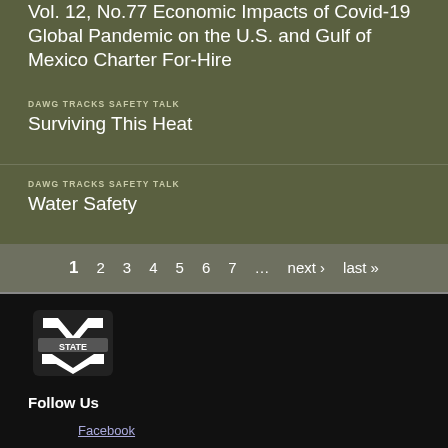Vol. 12, No.77 Economic Impacts of Covid-19 Global Pandemic on the U.S. and Gulf of Mexico Charter For-Hire
DAWG TRACKS SAFETY TALK
Surviving This Heat
DAWG TRACKS SAFETY TALK
Water Safety
1 2 3 4 5 6 7 ... next› last»
[Figure (logo): Mississippi State University M STATE logo in white on black background]
Follow Us
Facebook
Twitter
Pinterest